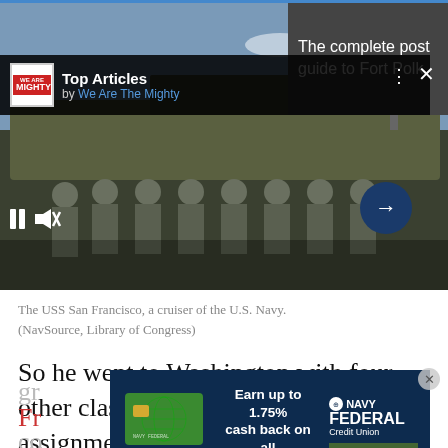[Figure (screenshot): Video player showing soldiers in military uniforms standing in front of a tank/military vehicle. Top Articles bar overlay with We Are The Mighty logo. Right panel shows 'The complete post guide to Fort Polk' in dark gray. Video controls visible at bottom including pause and mute icons and a right arrow button.]
The USS San Francisco, a cruiser of the U.S. Navy.
(NavSource, Library of Congress)
So he went to Washington with four other classmates and asked for assignment in the fleet. He was
[Figure (screenshot): Navy Federal Credit Union advertisement banner showing a green credit card, text 'Earn up to 1.75% cash back on all purchases', Navy Federal Credit Union logo, and a 'LEARN MORE' button.]